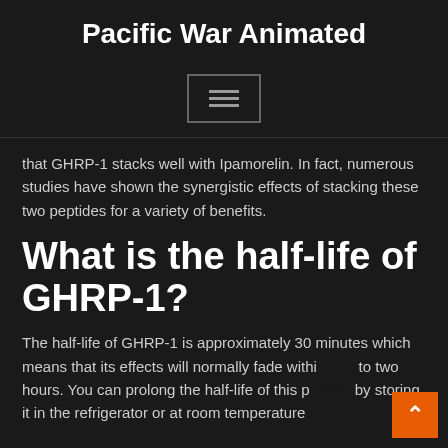Pacific War Animated
[Figure (other): Hamburger menu icon — three horizontal lines inside a bordered rectangle]
that GHRP-1 stacks well with Ipamorelin. In fact, numerous studies have shown the synergistic effects of stacking these two peptides for a variety of benefits.
What is the half-life of GHRP-1?
The half-life of GHRP-1 is approximately 30 minutes which means that its effects will normally fade withi... to two hours. You can prolong the half-life of this p... by storing it in the refrigerator or at room temperature...